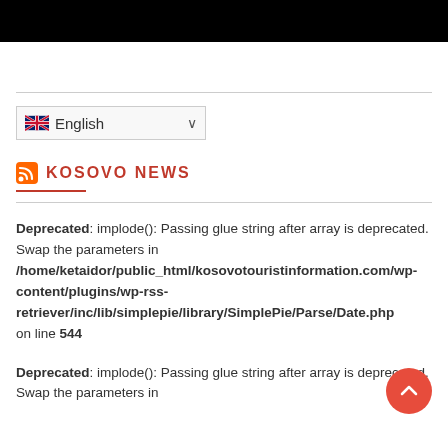[Figure (photo): Dark/black image bar at the top of the page, partial screenshot of a webpage header photo]
[Figure (screenshot): Language selector dropdown showing British flag and 'English' with chevron]
KOSOVO NEWS
Deprecated: implode(): Passing glue string after array is deprecated. Swap the parameters in /home/ketaidor/public_html/kosovotouristinformation.com/wp-content/plugins/wp-rss-retriever/inc/lib/simplepie/library/SimplePie/Parse/Date.php on line 544
Deprecated: implode(): Passing glue string after array is deprecated. Swap the parameters in /home/ketaidor/public_html/kosovotouristinformation.com/...